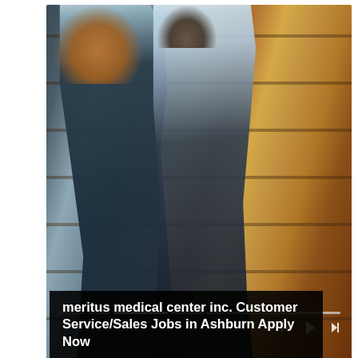[Figure (photo): Two retail workers in a grocery store aisle — a woman with curly hair in a dark jacket and a young man in a light blue shirt — walking along shelves stocked with products. A video progress bar and media controls are overlaid at the bottom.]
meritus medical center inc. Customer Service/Sales Jobs in Ashburn Apply Now